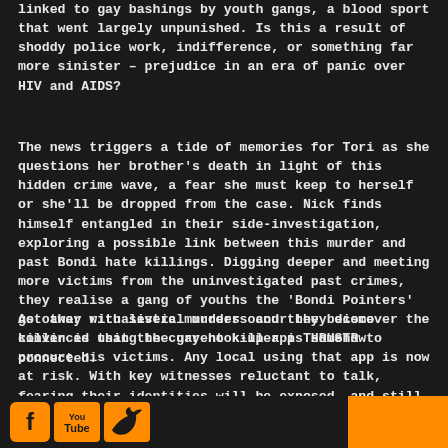linked to gay bashings by youth gangs, a blood sport that went largely unpunished. Is this a result of shoddy police work, indifference, or something far more sinister – prejudice in an era of panic over HIV and AIDS?
The news triggers a tide of memories for Tori as she questions her brother's death in light of this hidden crime wave, a fear she must keep to herself or she'll be dropped from the case. Nick finds himself entangled in their side-investigation, exploring a possible link between this murder and past Bondi hate killings. Digging deeper and meeting more victims from the uninvestigated past crimes, they realise a gang of youths the 'Bondi Pointers' got away with several murders and they become convinced that the current killer is somehow connected.
As other ritualistic murders occur they discover the killer is using the gay hook-up app THRUSTR to procure his victims. Any local using that app is now at risk. With key witnesses reluctant to talk, fearing their identities will be exposed. and still
[Facebook] [YouTube] [Twitter]